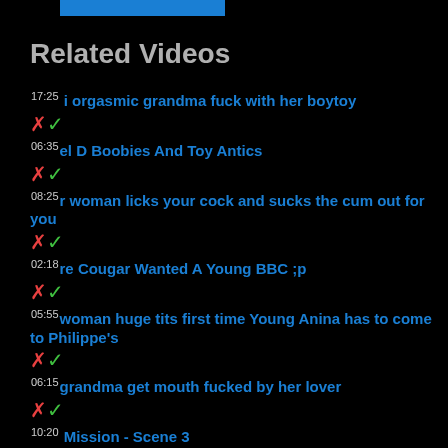Related Videos
17:25 i orgasmic grandma fuck with her boytoy
06:35 el D Boobies And Toy Antics
08:25 r woman licks your cock and sucks the cum out for you
02:18 re Cougar Wanted A Young BBC ;p
05:55 woman huge tits first time Young Anina has to come to Philippe's
06:15 grandma get mouth fucked by her lover
10:20 Mission - Scene 3
06:00 dage girl series gallery and you tube sex girl fake teen and girl